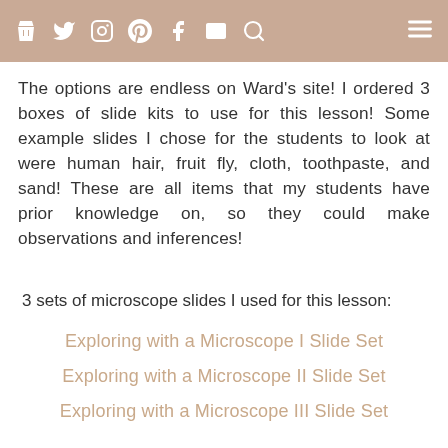[social media icons: bag, twitter, instagram, pinterest, facebook, mail, search] [hamburger menu]
The options are endless on Ward's site! I ordered 3 boxes of slide kits to use for this lesson! Some example slides I chose for the students to look at were human hair, fruit fly, cloth, toothpaste, and sand! These are all items that my students have prior knowledge on, so they could make observations and inferences!
3 sets of microscope slides I used for this lesson:
Exploring with a Microscope I Slide Set
Exploring with a Microscope II Slide Set
Exploring with a Microscope III Slide Set